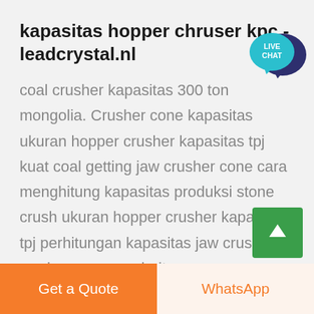kapasitas hopper chruser kpc - leadcrystal.nl
[Figure (illustration): Live Chat speech bubble icon with teal/dark blue colors showing 'LIVE CHAT' text]
coal crusher kapasitas 300 ton mongolia. Crusher cone kapasitas ukuran hopper crusher kapasitas tpj kuat coal getting jaw crusher cone cara menghitung kapasitas produksi stone crush ukuran hopper crusher kapasitas tpj perhitungan kapasitas jaw crusher c read more rumus belt convevor indonesia rumus keria alat
[Figure (illustration): Green square button with white upward arrow for scroll to top]
Get a Quote
WhatsApp